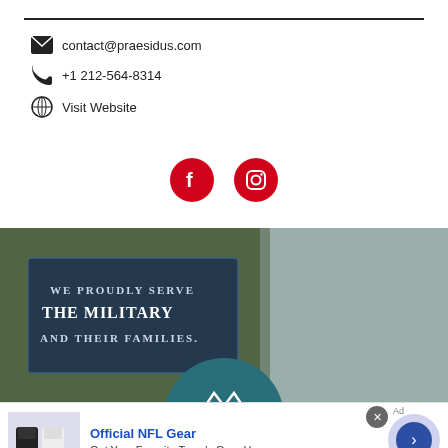contact@praesidus.com
+1 212-564-8314
Visit Website
[Figure (other): Social media icons: Facebook and Instagram, red circles with white icons]
[Figure (photo): Banner image: smiling child holding a small American flag outdoors, with overlay text box reading 'WE PROUDLY SERVE THE MILITARY AND THEIR FAMILIES.' and a teal circular logo at bottom center]
[Figure (other): Advertisement: Official NFL Gear - Get Your Favorite Team's Gear Here - www.nflshop.com, with NFL jerseys image on left and blue arrow button on right]